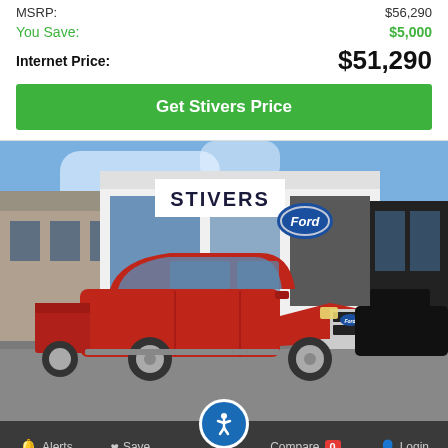MSRP: $56,290
You Save: $5,000
Internet Price: $51,290
Get Stivers Price
[Figure (photo): Red Ford F-150 pickup truck parked in front of Stivers Ford dealership building with Ford oval logo sign, under blue sky]
Alerts  Save  Compare 0  Login